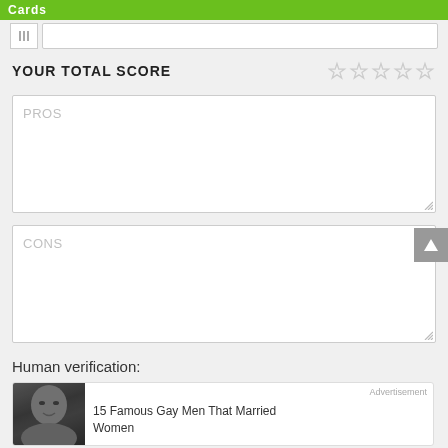Cards
[Figure (screenshot): Search bar with menu icon and text input field]
YOUR TOTAL SCORE
[Figure (other): Five empty star rating icons]
PROS
CONS
Human verification:
[Figure (photo): Close-up photo of a man's face]
Advertisement
15 Famous Gay Men That Married Women